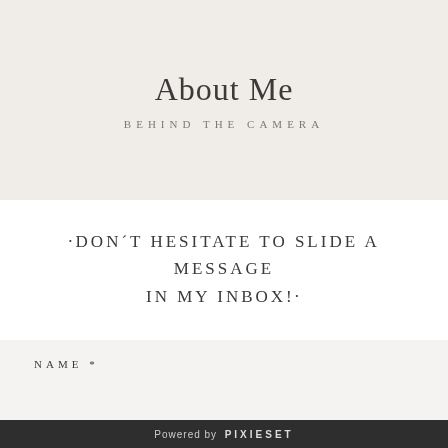About Me
BEHIND THE CAMERA
·DON´T HESITATE TO SLIDE A MESSAGE IN MY INBOX!·
HAPPY TO CHAT WITH YOU!
NAME *
Powered by PIXIESET